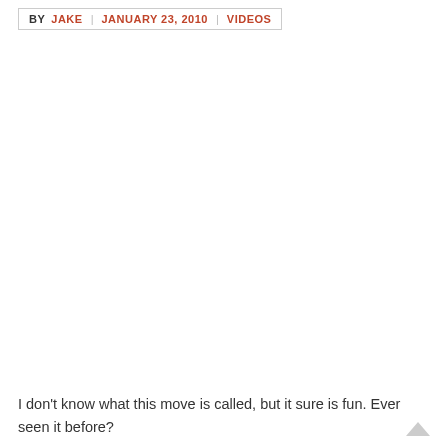BY JAKE | JANUARY 23, 2010 | VIDEOS
[Figure (other): Embedded video player area (blank/white placeholder)]
I don't know what this move is called, but it sure is fun. Ever seen it before?